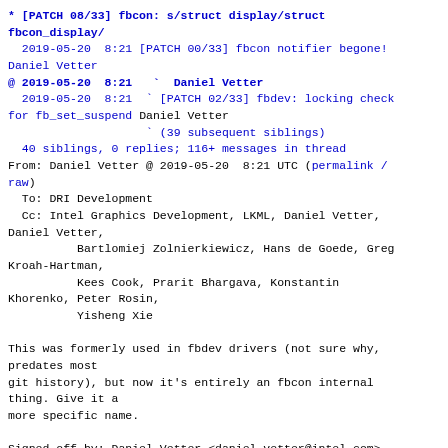* [PATCH 08/33] fbcon: s/struct display/struct fbcon_display/
  2019-05-20  8:21 [PATCH 00/33] fbcon notifier begone! Daniel Vetter
@ 2019-05-20  8:21  ` Daniel Vetter
  2019-05-20  8:21  ` [PATCH 02/33] fbdev: locking check for fb_set_suspend Daniel Vetter
                    ` (39 subsequent siblings)
  40 siblings, 0 replies; 116+ messages in thread
From: Daniel Vetter @ 2019-05-20  8:21 UTC (permalink / raw)
  To: DRI Development
  Cc: Intel Graphics Development, LKML, Daniel Vetter, Daniel Vetter,
          Bartlomiej Zolnierkiewicz, Hans de Goede, Greg Kroah-Hartman,
          Kees Cook, Prarit Bhargava, Konstantin Khorenko, Peter Rosin,
          Yisheng Xie

This was formerly used in fbdev drivers (not sure why, predates most
git history), but now it's entirely an fbcon internal thing. Give it a
more specific name.

Signed-off-by: Daniel Vetter <daniel.vetter@intel.com>
Cc: Bartlomiej Zolnierkiewicz
<b.zolnierkie@samsung.com>